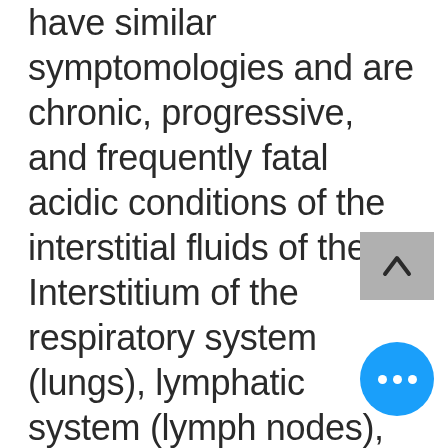have similar symptomologies and are chronic, progressive, and frequently fatal acidic conditions of the interstitial fluids of the Interstitium of the respiratory system (lungs), lymphatic system (lymph nodes), intestines, pancreas, urinary tract system, reproductive organs and the skin as the alkaloid glands (the salivary glands, stomach and small and large intestines) also...